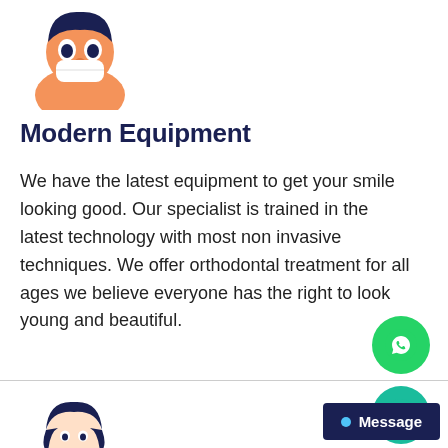[Figure (illustration): Orange and navy cartoon dentist/doctor character with a face mask, partially visible at top of page]
Modern Equipment
We have the latest equipment to get your smile looking good. Our specialist is trained in the latest technology with most non invasive techniques. We offer orthodontal treatment for all ages we believe everyone has the right to look young and beautiful.
[Figure (illustration): Green circular WhatsApp button with phone/chat icon]
[Figure (illustration): Teal circular scroll-to-top button with upward chevron]
[Figure (illustration): Orange and navy female doctor/nurse character holding baby, partially visible at bottom of page]
[Figure (illustration): Dark navy message button with blue dot and text 'Message']